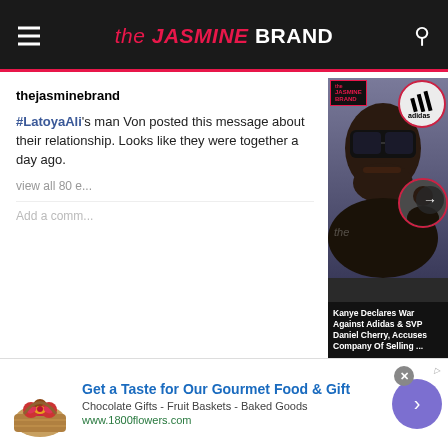the JASMINE BRAND
thejasminebrand
#LatoyaAli's man Von posted this message about their relationship. Looks like they were together a day ago.
view all 80 e...
Add a comm...
[Figure (photo): Kanye West wearing large black sunglasses at what appears to be an event. To the right is the Adidas logo in a red circle and a second circular photo. A white arrow navigation button is overlaid. A dark banner at bottom reads: Kanye Declares War Against Adidas & SVP Daniel Cherry, Accuses Company Of Selling ...]
Kanye Declares War Against Adidas & SVP Daniel Cherry, Accuses Company Of Selling ...
Get a Taste for Our Gourmet Food & Gift
Chocolate Gifts - Fruit Baskets - Baked Goods
www.1800flowers.com